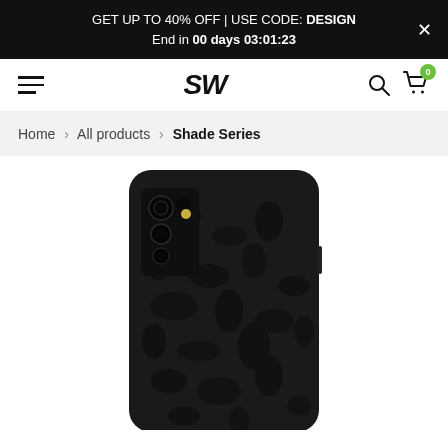GET UP TO 40% OFF | USE CODE: DESIGN  End in 00 days 03:01:23
SW — navigation bar with hamburger menu, search icon, cart icon (0)
Home › All products › Shade Series
[Figure (photo): Back view of a Samsung smartphone with a black camo / shade series skin applied, showing triple camera module on the upper left, gold flash, rounded corners, all on white background.]